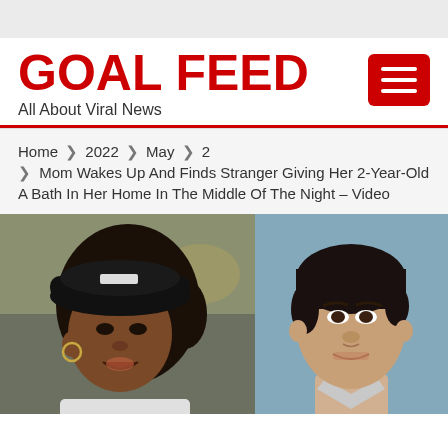GOAL FEED
All About Viral News
Home ❯ 2022 ❯ May ❯ 2 ❯ Mom Wakes Up And Finds Stranger Giving Her 2-Year-Old A Bath In Her Home In The Middle Of The Night – Video
[Figure (photo): Two side-by-side photos: left shows a Black woman wearing a black Adidas cap with hair in a ponytail, speaking outdoors; right shows a lighter-skinned person with short dark hair against a blue background (appears to be a mugshot or similar official photo).]